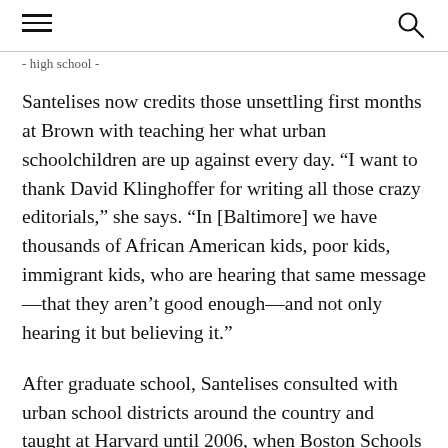[hamburger menu icon] [search icon]
- high school -
Santelises now credits those unsettling first months at Brown with teaching her what urban schoolchildren are up against every day. “I want to thank David Klinghoffer for writing all those crazy editorials,” she says. “In [Baltimore] we have thousands of African American kids, poor kids, immigrant kids, who are hearing that same message—that they aren’t good enough—and not only hearing it but believing it.”
After graduate school, Santelises consulted with urban school districts around the country and taught at Harvard until 2006, when Boston Schools superintendent Tom Payzant, for whom she’d interned while in graduate school, hired her as assistant superintendent for teaching